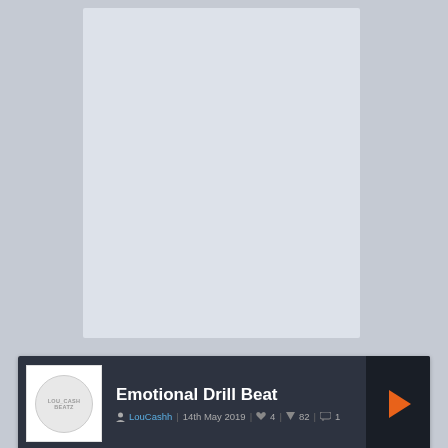[Figure (screenshot): White/light card placeholder area at top of page]
[Figure (screenshot): Music player widget showing 'Emotional Drill Beat' by LouCashh. Date: 14th May 2019. Likes: 4, Downloads: 82, Comments: 1. Duration 0:00 / 02:54. Waveform shown. Login To Download button.]
Tags : | Grime | 3.97 MB | Colab Request | FL Studio
Description : Piano by GrP
Prod. GizmoBeatz